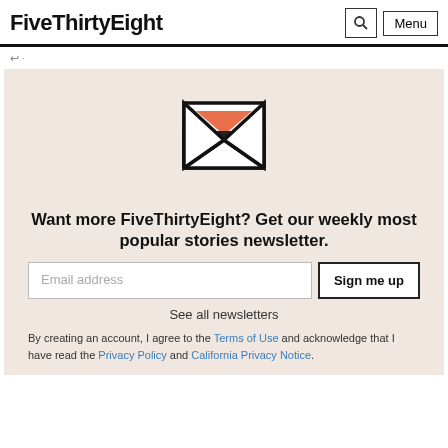FiveThirtyEight
[Figure (illustration): Open envelope icon with orange bowtie/chevron shape at top and small dark triangle below it, black outline envelope]
Want more FiveThirtyEight? Get our weekly most popular stories newsletter.
Email address [input field] Sign me up [button]
See all newsletters
By creating an account, I agree to the Terms of Use and acknowledge that I have read the Privacy Policy and California Privacy Notice.